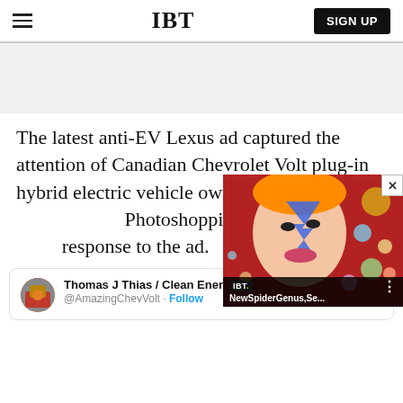IBT | SIGN UP
[Figure (other): Gray advertisement placeholder banner]
The latest anti-EV Lexus ad captured the attention of Canadian Chevrolet Volt plug-in hybrid electric vehicle owner Steve Koopm... Photoshopping skills to issu... response to the ad.
[Figure (screenshot): Floating IBT video overlay showing a colorful face illustration (Ziggy Stardust-style) with video title 'NewSpiderGenus,Se...' on dark overlay bar]
Thomas J Thias / Clean Energy Retort™ 51... @AmazingChevVolt · Follow